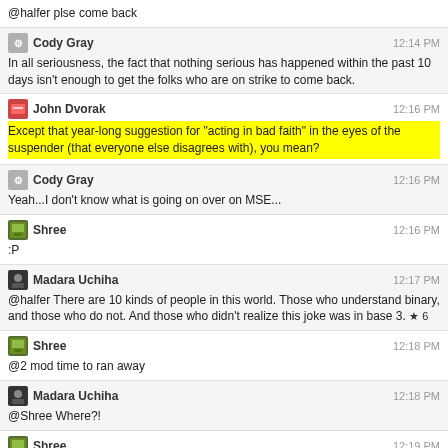@halfer plse come back
Cody Gray 12:14 PM
In all seriousness, the fact that nothing serious has happened within the past 10 days isn't enough to get the folks who are on strike to come back.
John Dvorak 12:16 PM
Except that year-long suggestion for "acting in bad faith" in the eyes of the suspender (that everyone else disagrees with), you mean?
Cody Gray 12:16 PM
Yeah...I don't know what is going on over on MSE...
Shree 12:16 PM
:P
Madara Uchiha 12:17 PM
@halfer There are 10 kinds of people in this world. Those who understand binary, and those who do not. And those who didn't realize this joke was in base 3. ★6
Shree 12:18 PM
@2 mod time to ran away
Madara Uchiha 12:18 PM
@Shree Where?!
Shree 12:19 PM
:P new room :D